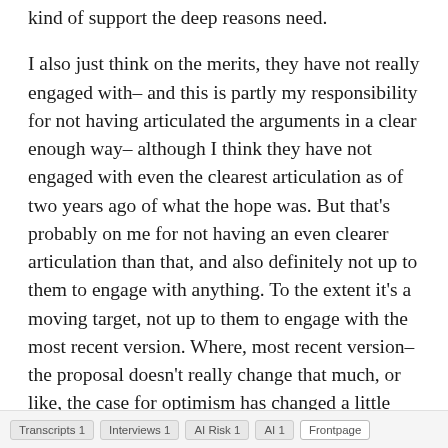kind of support the deep reasons need.
I also just think on the merits, they have not really engaged with– and this is partly my responsibility for not having articulated the arguments in a clear enough way– although I think they have not engaged with even the clearest articulation as of two years ago of what the hope was. But that's probably on me for not having an even clearer articulation than that, and also definitely not up to them to engage with anything. To the extent it's a moving target, not up to them to engage with the most recent version. Where, most recent version– the proposal doesn't really change that much, or like, the case for optimism has changed a little bit. But it's mostly just like, the state of argument concerning it, rather than the version of the scheme.
Transcripts 1   Interviews 1   AI Risk 1   AI 1   Frontpage